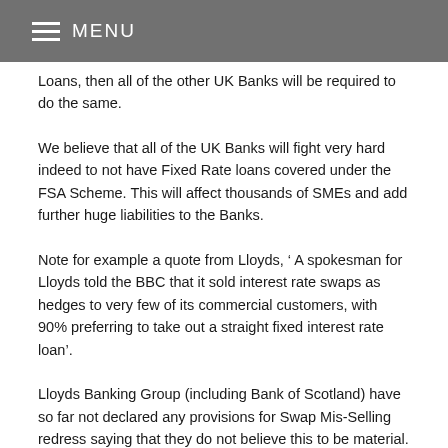MENU
Loans, then all of the other UK Banks will be required to do the same.
We believe that all of the UK Banks will fight very hard indeed to not have Fixed Rate loans covered under the FSA Scheme. This will affect thousands of SMEs and add further huge liabilities to the Banks.
Note for example a quote from Lloyds, ‘ A spokesman for Lloyds told the BBC that it sold interest rate swaps as hedges to very few of its commercial customers, with 90% preferring to take out a straight fixed interest rate loan’.
Lloyds Banking Group (including Bank of Scotland) have so far not declared any provisions for Swap Mis-Selling redress saying that they do not believe this to be material. This we feel is highly likely to be changed in the future with some provisions being added, since we are advising